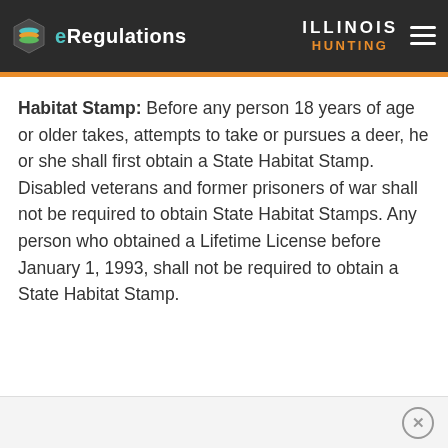eRegulations | ILLINOIS HUNTING
Habitat Stamp: Before any person 18 years of age or older takes, attempts to take or pursues a deer, he or she shall first obtain a State Habitat Stamp. Disabled veterans and former prisoners of war shall not be required to obtain State Habitat Stamps. Any person who obtained a Lifetime License before January 1, 1993, shall not be required to obtain a State Habitat Stamp.
×